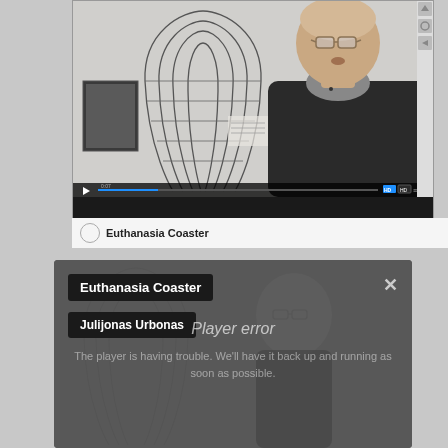[Figure (screenshot): Video player screenshot showing a man with glasses in a dark jacket, with a tall looping wire sculpture (coaster model) visible to his left. Video player controls visible at bottom. Player appears active.]
Euthanasia Coaster
[Figure (screenshot): Second video player screenshot of the same man, overlaid with a dark semi-transparent error overlay. Shows title 'Euthanasia Coaster' and author 'Julijonas Urbonas' in dark label boxes. Center shows 'Player error' message: 'The player is having trouble. We'll have it back up and running as soon as possible.' An X close button appears top right.]